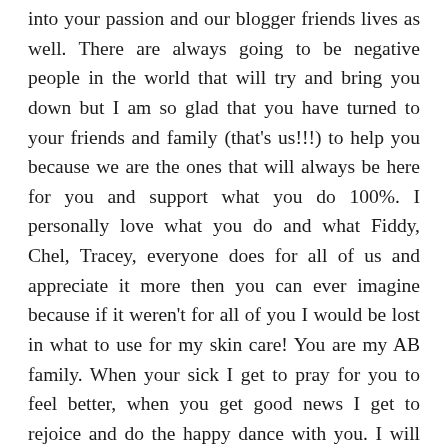into your passion and our blogger friends lives as well. There are always going to be negative people in the world that will try and bring you down but I am so glad that you have turned to your friends and family (that's us!!!) to help you because we are the ones that will always be here for you and support what you do 100%. I personally love what you do and what Fiddy, Chel, Tracey, everyone does for all of us and appreciate it more then you can ever imagine because if it weren't for all of you I would be lost in what to use for my skin care! You are my AB family. When your sick I get to pray for you to feel better, when you get good news I get to rejoice and do the happy dance with you. I will never meet you but I will follow you on your blog for as long as you write it and learn from you and I will remember you. So thank you for doing this and please keep going with your passion! I am one that bought the